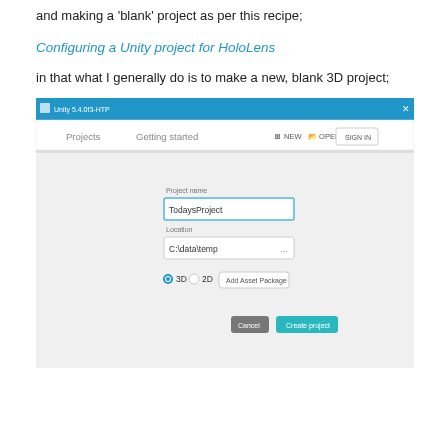and making a 'blank' project as per this recipe;
Configuring a Unity project for HoloLens
in that what I generally do is to make a new, blank 3D project;
[Figure (screenshot): Unity 5.4.0f3-HTP project creation dialog showing fields for Project name (TodaysProject), Location (C:\data\temp), 3D/2D toggle with 3D selected, Add Asset Package button, Cancel and Create project buttons. Top bar shows Projects and Getting started tabs with NEW, OPEN, and SIGN IN buttons.]